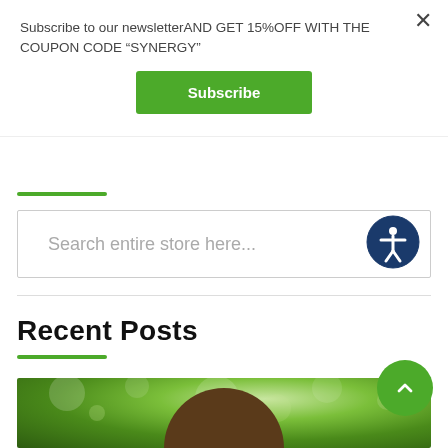Subscribe to our newsletterAND GET 15%OFF WITH THE COUPON CODE “SYNERGY”
Subscribe
[Figure (screenshot): Search bar with placeholder text 'Search entire store here...' and an accessibility icon (person in circle) on the right]
Recent Posts
[Figure (photo): Photo of a person outdoors with bokeh green foliage background, head visible at bottom center]